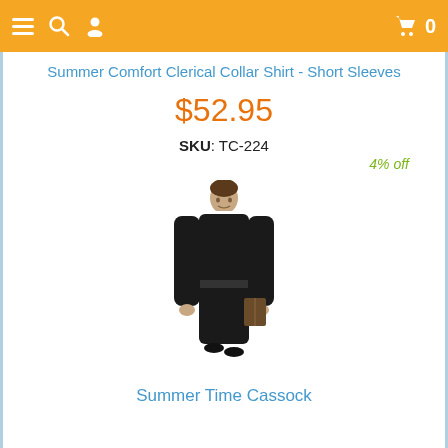Navigation bar with menu, search, user, cart icons
Summer Comfort Clerical Collar Shirt - Short Sleeves
$52.95
SKU: TC-224
4% off
[Figure (photo): Man wearing a black clerical cassock robe, full-length, holding a book]
Summer Time Cassock